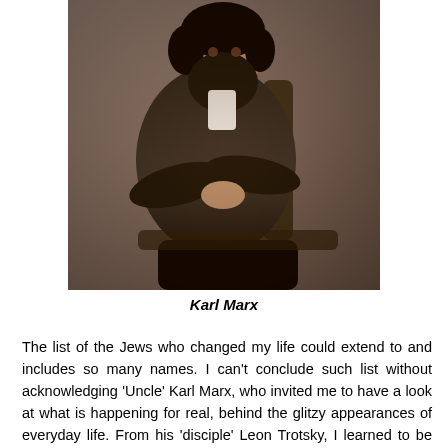[Figure (photo): Sepia-toned historical photograph of Karl Marx, seated in a chair, wearing a dark suit, arms crossed.]
Karl Marx
The list of the Jews who changed my life could extend to and includes so many names. I can't conclude such list without acknowledging 'Uncle' Karl Marx, who invited me to have a look at what is happening for real, behind the glitzy appearances of everyday life. From his 'disciple' Leon Trotsky, I learned to be faithful to one's principles even when the 'comrades' go wrong, misunderstand you and probably end up murdering you for being authentic and faithful to your principles.